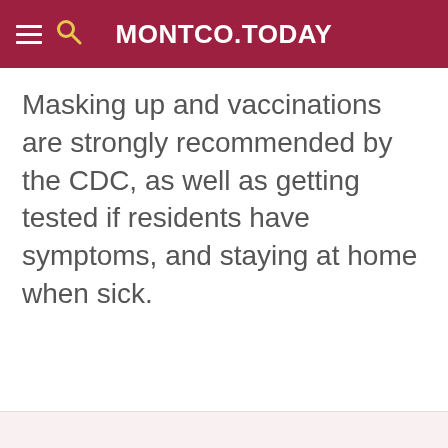MONTCO.TODAY
Masking up and vaccinations are strongly recommended by the CDC, as well as getting tested if residents have symptoms, and staying at home when sick.